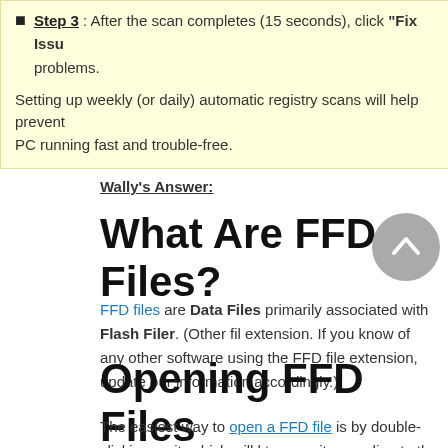Step 3 : After the scan completes (15 seconds), click "Fix Issues" to fix all registry problems.
Setting up weekly (or daily) automatic registry scans will help prevent PC running fast and trouble-free.
Wally's Answer:
What Are FFD Files?
FFD files are Data Files primarily associated with Flash Filer. (Other files may also use the FFD file extension. If you know of any other software using the FFD file extension, please let us know so we can update our information accordingly.)
Opening FFD Files
The easiest way to open a FFD file is by double-clicking on it, which will let Windows pick the right program to open it according to the Windows FFD file association settings. If your